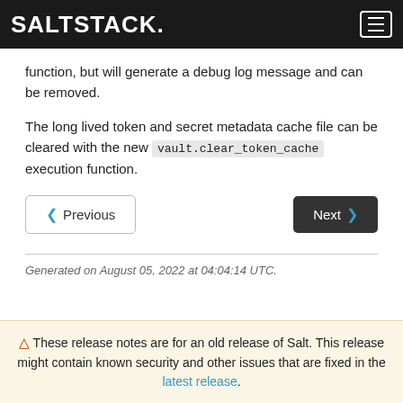SALTSTACK
function, but will generate a debug log message and can be removed.
The long lived token and secret metadata cache file can be cleared with the new vault.clear_token_cache execution function.
Previous | Next
Generated on August 05, 2022 at 04:04:14 UTC.
⚠ These release notes are for an old release of Salt. This release might contain known security and other issues that are fixed in the latest release.